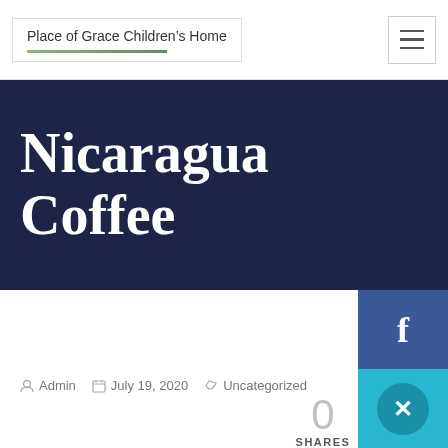Place of Grace Children's Home
Nicaragua Coffee
Admin  July 19, 2020  Uncategorized  0 SHARES